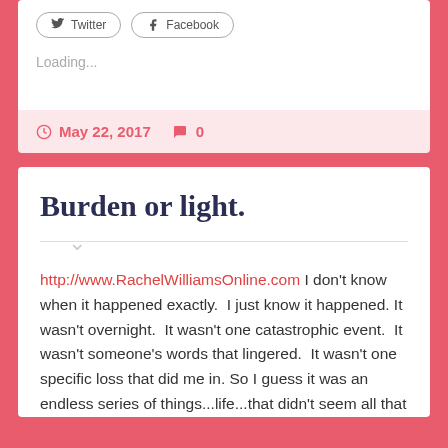Loading...
May 22, 2017   0
Burden or light.
http://www.RachelWilliamsOnline.com I don't know when it happened exactly.  I just know it happened. It wasn't overnight.  It wasn't one catastrophic event.  It wasn't someone's words that lingered.  It wasn't one specific loss that did me in. So I guess it was an endless series of things...life...that didn't seem all that